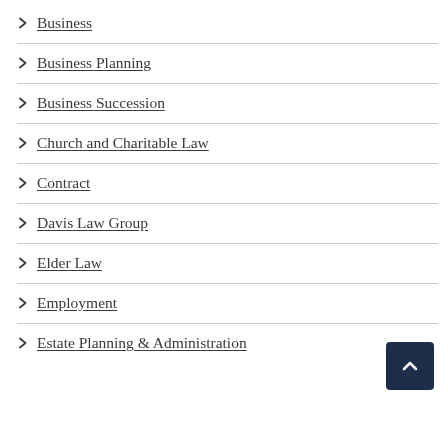Business
Business Planning
Business Succession
Church and Charitable Law
Contract
Davis Law Group
Elder Law
Employment
Estate Planning & Administration